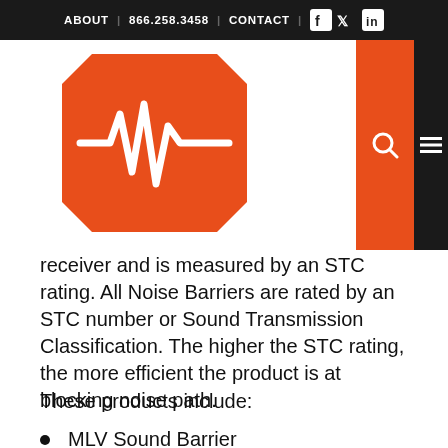ABOUT | 866.258.3458 | CONTACT | [social icons]
[Figure (logo): Orange angular badge/hexagon logo with white heartbeat/waveform line graphic]
receiver and is measured by an STC rating. All Noise Barriers are rated by an STC number or Sound Transmission Classification. The higher the STC rating, the more efficient the product is at blocking noise path.
These products include:
MLV Sound Barrier
Acoustical Barrier Blankets